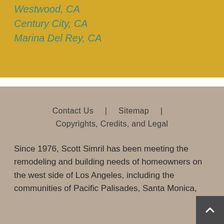Westwood, CA
Century City, CA
Marina Del Rey, CA
Contact Us  |  Sitemap  |  Copyrights, Credits, and Legal
Since 1976, Scott Simril has been meeting the remodeling and building needs of homeowners on the west side of Los Angeles, including the communities of Pacific Palisades, Santa Monica,